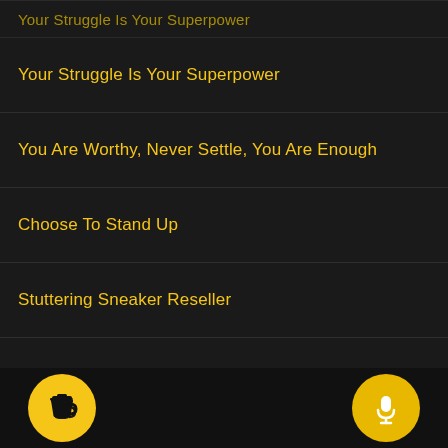Your Struggle Is Your Superpower
You Are Worthy, Never Settle, You Are Enough
Choose To Stand Up
Stuttering Sneaker Reseller
Think Less.....Talk More
See all →
[Figure (illustration): Bottom navigation bar with yellow coffee cup button on left and yellow microphone button on right, on black background]